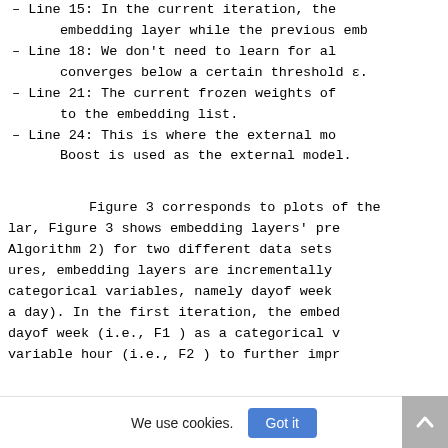– Line 15: In the current iteration, the embedding layer while the previous emb
– Line 18: We don't need to learn for al converges below a certain threshold ε.
– Line 21: The current frozen weights of to the embedding list.
– Line 24: This is where the external mo Boost is used as the external model.
Figure 3 corresponds to plots of the lar, Figure 3 shows embedding layers' pre Algorithm 2) for two different data sets ures, embedding layers are incrementally categorical variables, namely dayof week a day). In the first iteration, the embed dayof week (i.e., F1 ) as a categorical v variable hour (i.e., F2 ) to further impr
We use cookies.  Got it